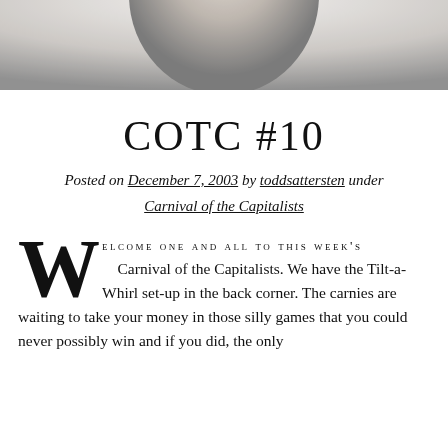[Figure (photo): Black and white close-up photograph of the top of a person's head, cropped so only the upper scalp and hair are visible.]
COTC #10
Posted on December 7, 2003 by toddsattersten under Carnival of the Capitalists
WELCOME ONE AND ALL TO THIS WEEK'S Carnival of the Capitalists. We have the Tilt-a-Whirl set-up in the back corner. The carnies are waiting to take your money in those silly games that you could never possibly win and if you did, the only